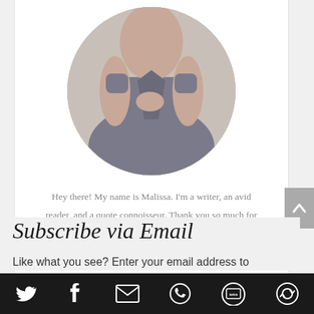[Figure (photo): Circular cropped photo of a woman wearing a grey dress, hands clasped, used as profile/avatar image]
Hey there! My name is Malissa. I'm a writer, an avid reader, and a quote connoisseur. Thank you so much for visiting Quotation Re:Marks - I'd love it if you'd subscribe via email so that we can meet again soon!
Subscribe via Email
Like what you see? Enter your email address to
[Figure (infographic): Bottom toolbar with social sharing icons: Twitter (bird), Facebook (f), Email (envelope), WhatsApp (phone bubble), SMS (chat bubble with 'sms'), and a circular arrow icon, all white on dark background]